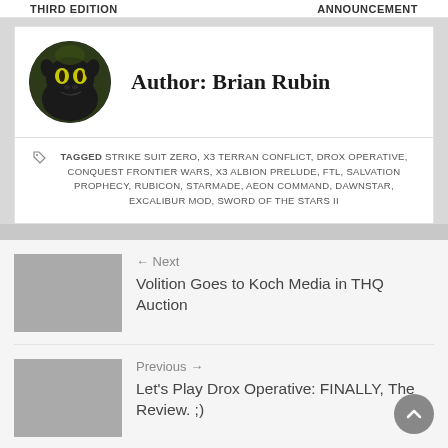Third Edition    Announcement
[Figure (photo): Author avatar: circular photo of a black dragon (Toothless from How to Train Your Dragon) with yellow eyes against a green background]
Author: Brian Rubin
TAGGED STRIKE SUIT ZERO, X3 TERRAN CONFLICT, DROX OPERATIVE, CONQUEST FRONTIER WARS, X3 ALBION PRELUDE, FTL, SALVATION PROPHECY, RUBICON, STARMADE, AEON COMMAND, DAWNSTAR, EXCALIBUR MOD, SWORD OF THE STARS II
← Next
[Figure (photo): Gray placeholder thumbnail for next post]
Volition Goes to Koch Media in THQ Auction
Previous →
[Figure (photo): Gray placeholder thumbnail for previous post]
Let's Play Drox Operative: FINALLY, The Review. ;)